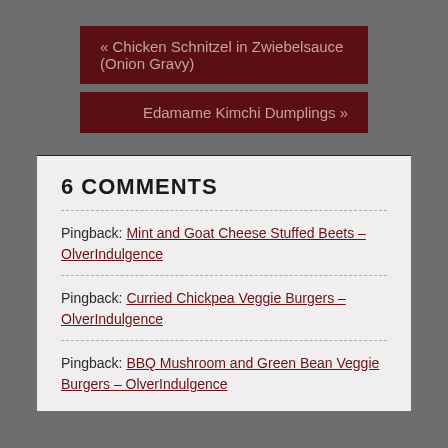« Chicken Schnitzel in Zwiebelsauce (Onion Gravy)
Edamame Kimchi Dumplings »
6 COMMENTS
Pingback: Mint and Goat Cheese Stuffed Beets – OlverIndulgence
Pingback: Curried Chickpea Veggie Burgers – OlverIndulgence
Pingback: BBQ Mushroom and Green Bean Veggie Burgers – OlverIndulgence